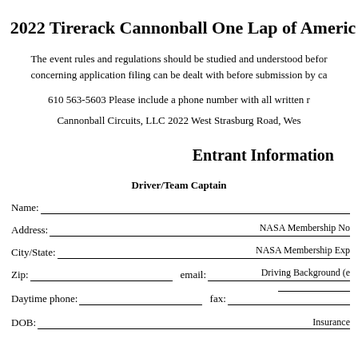2022 Tirerack Cannonball One Lap of America
The event rules and regulations should be studied and understood before concerning application filing can be dealt with before submission by ca
610 563-5603 Please include a phone number with all written r
Cannonball Circuits, LLC 2022 West Strasburg Road, Wes
Entrant Information
Driver/Team Captain
Name:
Address:   NASA Membership No
City/State:   NASA Membership Exp
Zip:   email:   Driving Background (e
Daytime phone:   fax:
DOB:   Insurance